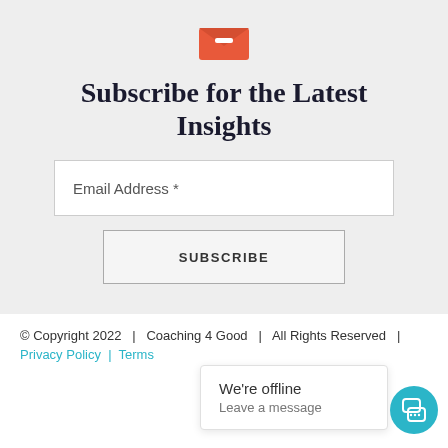[Figure (illustration): Orange envelope icon with a minus/dash symbol on the flap]
Subscribe for the Latest Insights
Email Address *
SUBSCRIBE
© Copyright 2022  |  Coaching 4 Good  |  All Rights Reserved  |
Privacy Policy  |  Terms
We're offline
Leave a message